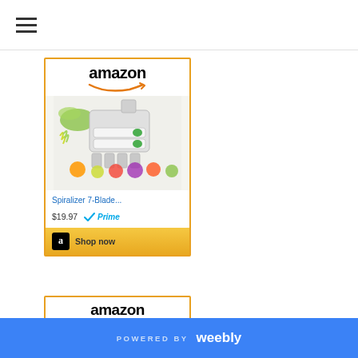[Figure (screenshot): Hamburger menu icon (three horizontal lines) in top-left navigation bar]
[Figure (screenshot): Amazon affiliate ad card showing a spiralizer kitchen product. Includes Amazon logo with arrow, product photo of Spiralizer 7-Blade, price $19.97, Prime logo, and Shop now button with gold background.]
[Figure (screenshot): Second Amazon affiliate ad card showing Amazon logo and a DULSE product (seaweed-related food product) partially visible.]
POWERED BY weebly